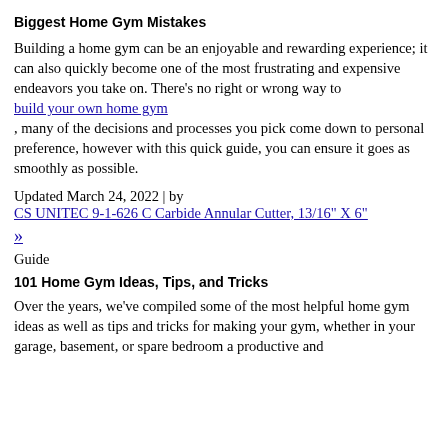Biggest Home Gym Mistakes
Building a home gym can be an enjoyable and rewarding experience; it can also quickly become one of the most frustrating and expensive endeavors you take on. There's no right or wrong way to build your own home gym , many of the decisions and processes you pick come down to personal preference, however with this quick guide, you can ensure it goes as smoothly as possible.
Updated March 24, 2022 | by CS UNITEC 9-1-626 C Carbide Annular Cutter, 13/16" X 6"
»
Guide
101 Home Gym Ideas, Tips, and Tricks
Over the years, we've compiled some of the most helpful home gym ideas as well as tips and tricks for making your gym, whether in your garage, basement, or spare bedroom a productive and